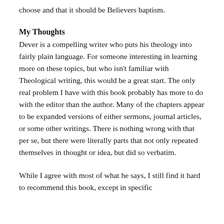choose and that it should be Believers baptism.
My Thoughts
Dever is a compelling writer who puts his theology into fairly plain language. For someone interesting in learning more on these topics, but who isn't familiar with Theological writing, this would be a great start. The only real problem I have with this book probably has more to do with the editor than the author. Many of the chapters appear to be expanded versions of either sermons, journal articles, or some other writings. There is nothing wrong with that per se, but there were literally parts that not only repeated themselves in thought or idea, but did so verbatim.
While I agree with most of what he says, I still find it hard to recommend this book, except in specific